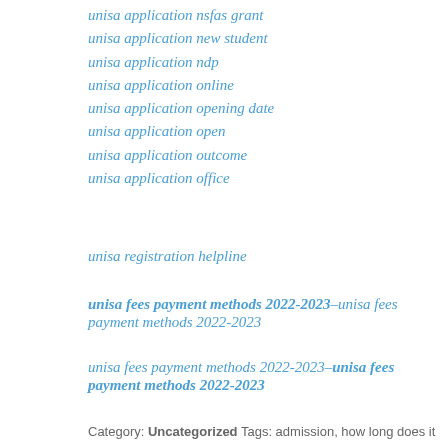unisa application nsfas grant
unisa application new student
unisa application ndp
unisa application online
unisa application opening date
unisa application open
unisa application outcome
unisa application office
unisa registration helpline
unisa fees payment methods 2022-2023–unisa fees payment methods 2022-2023
unisa fees payment methods 2022-2023–unisa fees payment methods 2022-2023
Category: Uncategorized Tags: admission, how long does it